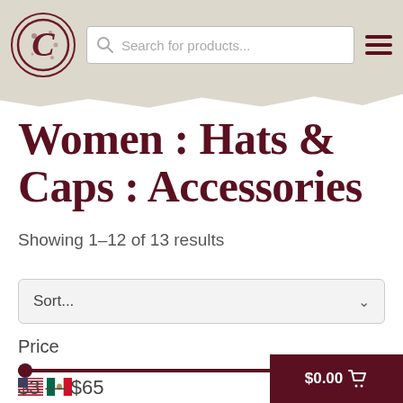[Figure (logo): Circular logo with stylized letter C in dark red/maroon on beige background]
Women : Hats & Caps : Accessories
Showing 1–12 of 13 results
[Figure (screenshot): Sort dropdown selector showing 'Sort...' with chevron arrow]
Price
[Figure (infographic): Price range slider from $0 to max, with US and Mexico flag icons below]
$3 — $65
[Figure (infographic): Shopping cart button showing $0.00 with cart icon on dark maroon background]